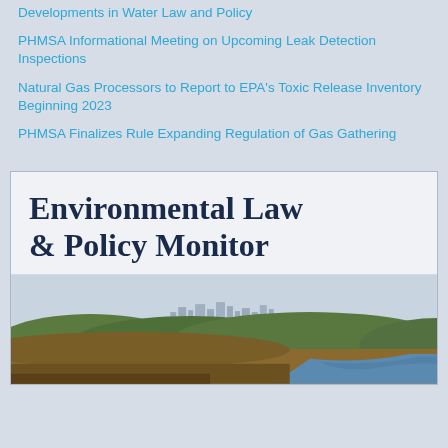Developments in Water Law and Policy
PHMSA Informational Meeting on Upcoming Leak Detection Inspections
Natural Gas Processors to Report to EPA's Toxic Release Inventory Beginning 2023
PHMSA Finalizes Rule Expanding Regulation of Gas Gathering
[Figure (illustration): Environmental Law & Policy Monitor publication cover featuring the title text and a landscape photograph of a river with forested hills and a city skyline in the background.]